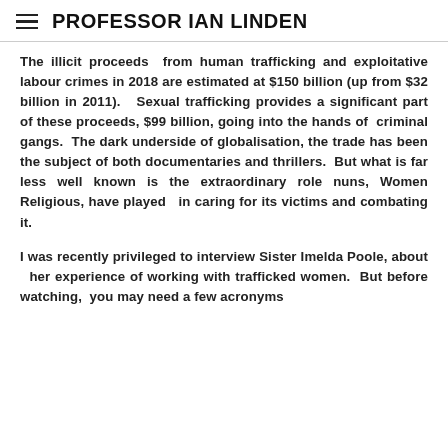PROFESSOR IAN LINDEN
The illicit proceeds from human trafficking and exploitative labour crimes in 2018 are estimated at $150 billion (up from $32 billion in 2011). Sexual trafficking provides a significant part of these proceeds, $99 billion, going into the hands of criminal gangs. The dark underside of globalisation, the trade has been the subject of both documentaries and thrillers. But what is far less well known is the extraordinary role nuns, Women Religious, have played in caring for its victims and combating it.
I was recently privileged to interview Sister Imelda Poole, about her experience of working with trafficked women. But before watching, you may need a few acronyms